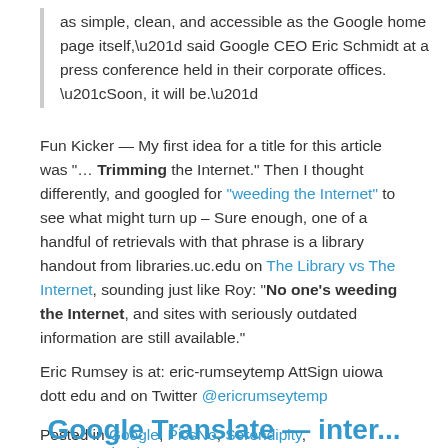as simple, clean, and accessible as the Google home page itself,” said Google CEO Eric Schmidt at a press conference held in their corporate offices. “Soon, it will be.”
Fun Kicker — My first idea for a title for this article was “… Trimming the Internet.” Then I thought differently, and googled for “weeding the Internet” to see what might turn up – Sure enough, one of a handful of retrievals with that phrase is a library handout from libraries.uc.edu on The Library vs The Internet, sounding just like Roy: “No one’s weeding the Internet, and sites with seriously outdated information are still available.”
Eric Rumsey is at: eric-rumseytemp AttSign uiowa dott edu and on Twitter @ericrumseytemp
Posted in Google, PicsNo, Serendipity, Uncategorized.